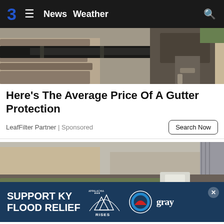3  ≡  News  Weather  🔍
[Figure (photo): Worker installing or cleaning rain gutters on a rooftop, showing dark gutter channel and roofing tiles]
Here's The Average Price Of A Gutter Protection
LeafFilter Partner | Sponsored
Search Now
[Figure (photo): Industrial food processing conveyor belt showing green/grey food items (possibly Brussels sprouts or similar produce) with a worker wearing an orange glove in a warehouse setting]
SUPPORT KY FLOOD RELIEF  APPALACHIA RISES  gray